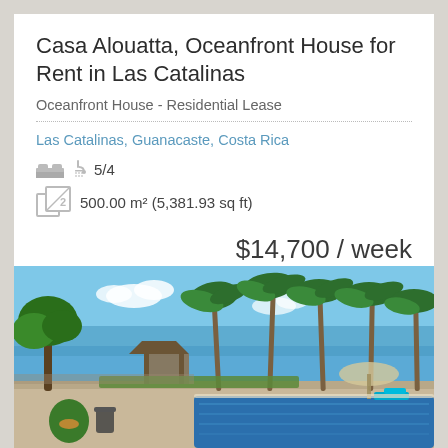Casa Alouatta, Oceanfront House for Rent in Las Catalinas
Oceanfront House - Residential Lease
Las Catalinas, Guanacaste, Costa Rica
5/4
500.00 m² (5,381.93 sq ft)
$14,700 / week
[Figure (photo): Outdoor pool area with palm trees, gazebo, and ocean view at Las Catalinas, Costa Rica. Blue sky with a few clouds, lush green tropical trees, lounge chairs with blue cushions, potted plants, and a long swimming pool in the foreground.]